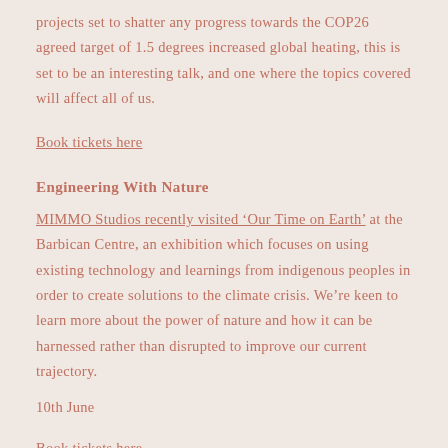projects set to shatter any progress towards the COP26 agreed target of 1.5 degrees increased global heating, this is set to be an interesting talk, and one where the topics covered will affect all of us.
Book tickets here
Engineering With Nature
MIMMO Studios recently visited ‘Our Time on Earth’ at the Barbican Centre, an exhibition which focuses on using existing technology and learnings from indigenous peoples in order to create solutions to the climate crisis. We’re keen to learn more about the power of nature and how it can be harnessed rather than disrupted to improve our current trajectory.
10th June
Book tickets here